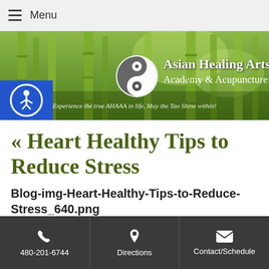Menu
[Figure (illustration): Asian Healing Arts Academy & Acupuncture website banner with bamboo forest background, yin-yang logo, and tagline 'Experience the true AHAAA in life, May the Tao Shine within!']
« Heart Healthy Tips to Reduce Stress
Blog-img-Heart-Healthy-Tips-to-Reduce-Stress_640.png
480-201-6744   Directions   Contact/Schedule